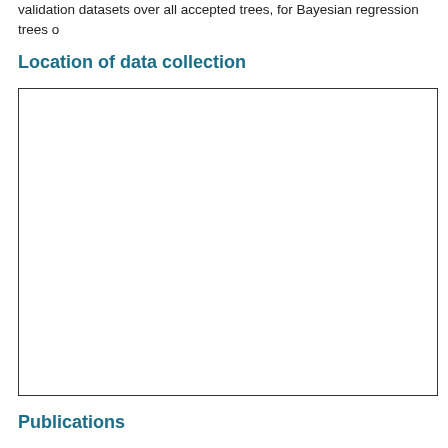validation datasets over all accepted trees, for Bayesian regression trees o
Location of data collection
[Figure (map): A map showing the location of data collection. The map area is blank/white within a rectangular border, suggesting a placeholder or image not rendered.]
Publications